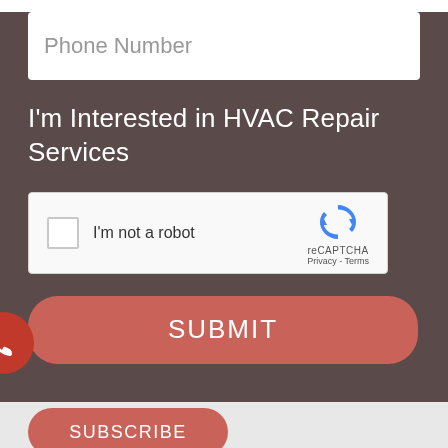[Figure (screenshot): Phone Number input field (white rounded rectangle with placeholder text)]
I'm Interested in HVAC Repair Services
[Figure (other): reCAPTCHA widget with checkbox 'I'm not a robot' and reCAPTCHA logo]
[Figure (other): SUBMIT button (rounded red/salmon rectangle with white text)]
[Figure (other): Phone icon floating circle button on left edge]
[Figure (other): SUBSCRIBE button (rounded red/salmon rectangle with white text) on light grey background]